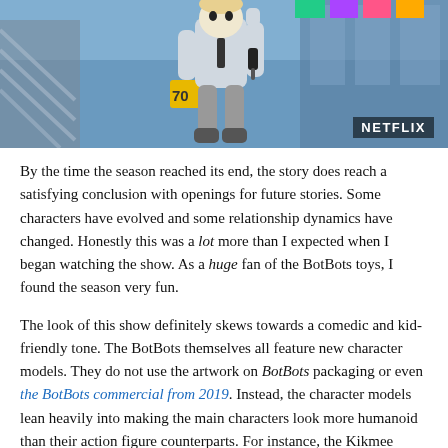[Figure (photo): Animated screenshot from a Netflix show showing an anime-style humanoid robot character in a mall setting with an escalator, colorful lighting, and a Netflix watermark in the bottom right corner.]
By the time the season reached its end, the story does reach a satisfying conclusion with openings for future stories. Some characters have evolved and some relationship dynamics have changed. Honestly this was a lot more than I expected when I began watching the show. As a huge fan of the BotBots toys, I found the season very fun.
The look of this show definitely skews towards a comedic and kid-friendly tone. The BotBots themselves all feature new character models. They do not use the artwork on BotBots packaging or even the BotBots commercial from 2019. Instead, the character models lean heavily into making the main characters look more humanoid than their action figure counterparts. For instance, the Kikmee action figure pretty much looks like a ball with tiny arms and legs while the animation model looks like a tall humanoid wearing armor with parts of a soccer ball as a helmet. Some of these redesigns work better than others. I tend to prefer designs that still retain elements of the alt-modes (Burgertron is a perfect example with bits of his cheeseburger mode forming parts of his torso and back) while others go a bit too far into humanoid shapes such